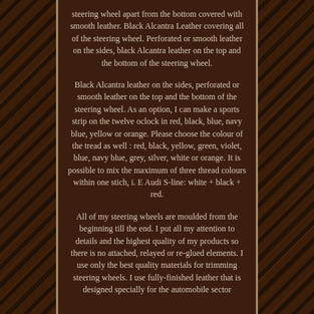steering wheel apart from the bottom covered with smooth leather. Black Alcantra Leather covering all of the steering wheel. Perforated or smooth leather on the sides, black Alcantra leather on the top and the bottom of the steering wheel.
Black Alcantra leather on the sides, perforated or smooth leather on the top and the bottom of the steering wheel. As an option, I can make a sports strip on the twelve oclock in red, black, blue, navy blue, yellow or orange. Please choose the colour of the tread as well : red, black, yellow, green, violet, blue, navy blue, grey, silver, white or orange. It is possible to mix the maximum of three thread colours within one stich, i. E Audi S-line: white + black + red.
All of my steering wheels are moulded from the beginning till the end. I put all my attention to details and the highest quality of my products so there is no attached, relayed or re-glued elements. I use only the best quality materials for trimming steering wheels. I use fully-finished leather that is designed specially for the automobile sector